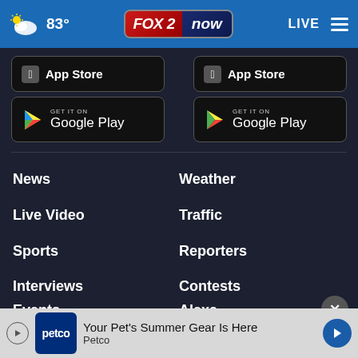FOX 2 NOW — 83° — LIVE
[Figure (screenshot): App Store and Google Play download buttons (two columns)]
News
Weather
Live Video
Traffic
Sports
Reporters
Interviews
Contests
Events
Alexa
News
[Figure (screenshot): Petco advertisement banner: Your Pet's Summer Gear Is Here — Petco]